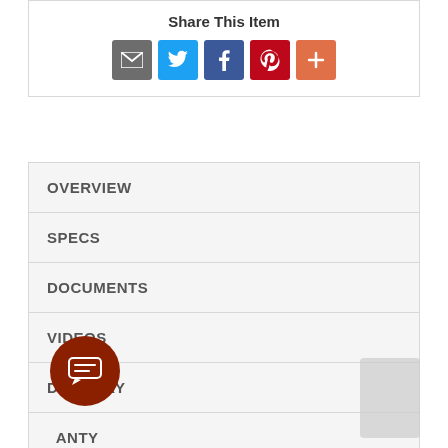Share This Item
[Figure (infographic): Social sharing icons: Email (grey), Twitter (blue), Facebook (dark blue), Pinterest (red), More/Plus (orange)]
OVERVIEW
SPECS
DOCUMENTS
VIDEOS
DELIVERY
ANTY
[Figure (infographic): Dark red circular chat/message button with lines icon]